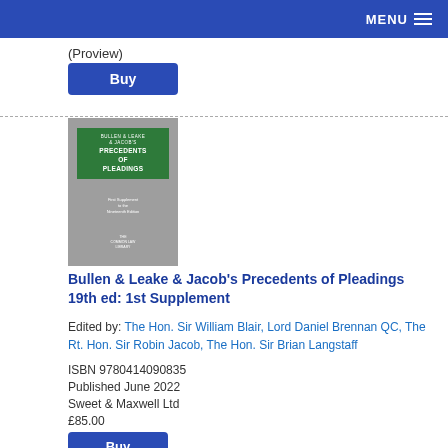MENU
(Proview)
Buy
[Figure (illustration): Book cover of Bullen & Leake & Jacob's Precedents of Pleadings 19th ed: 1st Supplement, grey cover with green title box, published by Sweet & Maxwell]
Bullen & Leake & Jacob's Precedents of Pleadings 19th ed: 1st Supplement
Edited by: The Hon. Sir William Blair, Lord Daniel Brennan QC, The Rt. Hon. Sir Robin Jacob, The Hon. Sir Brian Langstaff
ISBN 9780414090835
Published June 2022
Sweet & Maxwell Ltd
£85.00